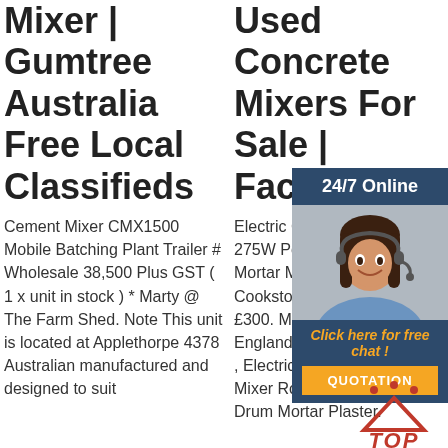Mixer | Gumtree Australia Free Local Classifieds
Cement Mixer CMX1500 Mobile Batching Plant Trailer # Wholesale 38,500 Plus GST ( 1 x unit in stock ) * Marty @ The Farm Shed. Note This unit is located at Applethorpe 4378 Australian manufactured and designed to suit
Used Concrete Mixers For Sale | Facebook
Electric Cement Mixer 70 Litre 275W Portable Concrete Mortar Mixing Machine 240V. Cookstown, Northern Ireland. £300. Mixer. Brampton, England. £20. For hire £20/day , Electric Cement Concrete Mixer RocwooD 140 Litre Drum Mortar Plaster.
Sale 'Cement Mixer' - Ch
202: cem (Be pos this favo
[Figure (infographic): Customer service overlay with '24/7 Online' header, photo of woman with headset, 'Click here for free chat!' text in orange italic, orange QUOTATION button, orange Get Price button, and red TOP icon with dots.]